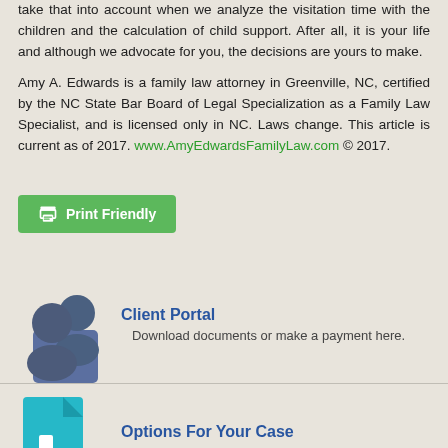take that into account when we analyze the visitation time with the children and the calculation of child support. After all, it is your life and although we advocate for you, the decisions are yours to make.
Amy A. Edwards is a family law attorney in Greenville, NC, certified by the NC State Bar Board of Legal Specialization as a Family Law Specialist, and is licensed only in NC. Laws change. This article is current as of 2017. www.AmyEdwardsFamilyLaw.com © 2017.
[Figure (other): Green Print Friendly button with printer icon]
[Figure (illustration): Client Portal card with dark blue/purple icon of two people figures and a document, with title 'Client Portal' and text 'Download documents or make a payment here.']
[Figure (illustration): Options For Your Case card with teal/cyan document with download arrow icon, with title 'Options For Your Case' and text 'See different ways to handle your situation.']